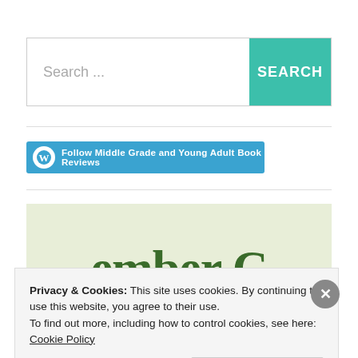[Figure (screenshot): Search bar with text input placeholder 'Search ...' and a teal SEARCH button on the right]
[Figure (screenshot): Blue follow button with WordPress icon: 'Follow Middle Grade and Young Adult Book Reviews']
[Figure (illustration): Light green background image with dark green serif text reading 'ember' (part of 'Member'), partially visible]
Privacy & Cookies: This site uses cookies. By continuing to use this website, you agree to their use.
To find out more, including how to control cookies, see here: Cookie Policy
Close and accept